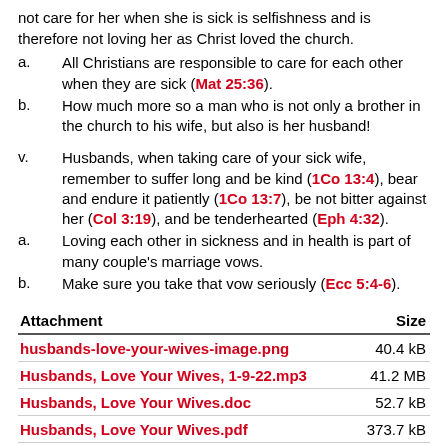not care for her when she is sick is selfishness and is therefore not loving her as Christ loved the church.
a.    All Christians are responsible to care for each other when they are sick (Mat 25:36).
b.    How much more so a man who is not only a brother in the church to his wife, but also is her husband!
v.    Husbands, when taking care of your sick wife, remember to suffer long and be kind (1Co 13:4), bear and endure it patiently (1Co 13:7), be not bitter against her (Col 3:19), and be tenderhearted (Eph 4:32).
a.    Loving each other in sickness and in health is part of many couple's marriage vows.
b.    Make sure you take that vow seriously (Ecc 5:4-6).
| Attachment | Size |
| --- | --- |
| husbands-love-your-wives-image.png | 40.4 kB |
| Husbands, Love Your Wives, 1-9-22.mp3 | 41.2 MB |
| Husbands, Love Your Wives.doc | 52.7 kB |
| Husbands, Love Your Wives.pdf | 373.7 kB |